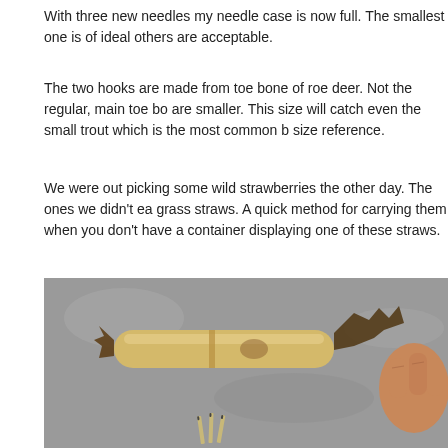With three new needles my needle case is now full. The smallest one is of ideal others are acceptable.
The two hooks are made from toe bone of roe deer. Not the regular, main toe bo are smaller. This size will catch even the small trout which is the most common b size reference.
We were out picking some wild strawberries the other day. The ones we didn't ea grass straws. A quick method for carrying them when you don't have a container displaying one of these straws.
[Figure (photo): A photograph showing a hollow grass/bamboo straw lying on a gray stone surface, with two small bone needles laid out below it. A person's hand is visible on the right side of the image, touching the straw.]